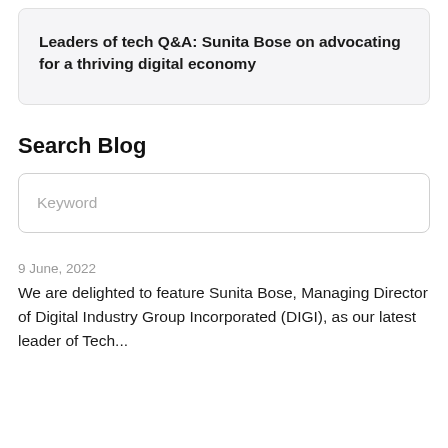Leaders of tech Q&A: Sunita Bose on advocating for a thriving digital economy
Search Blog
Keyword
9 June, 2022
We are delighted to feature Sunita Bose, Managing Director of Digital Industry Group Incorporated (DIGI), as our latest leader of Tech...